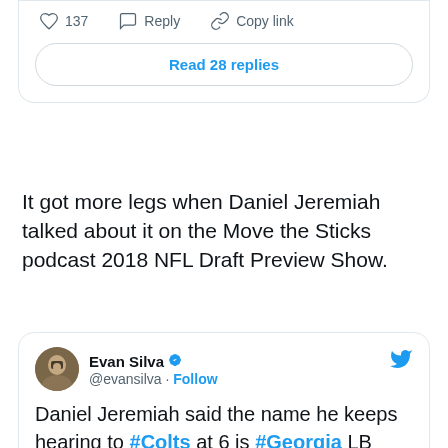[Figure (screenshot): Top portion of a tweet card showing 137 likes, Reply, Copy link actions and a 'Read 28 replies' button]
It got more legs when Daniel Jeremiah talked about it on the Move the Sticks podcast 2018 NFL Draft Preview Show.
[Figure (screenshot): Tweet card by Evan Silva (@evansilva) with verified badge and Twitter logo. Text: Daniel Jeremiah said the name he keeps hearing to #Colts at 6 is #Georgia LB Roquan Smith & he'd be surprised if Indy doesn't sit tight & take him: stitcher.com/podcast/nfl/mo...]